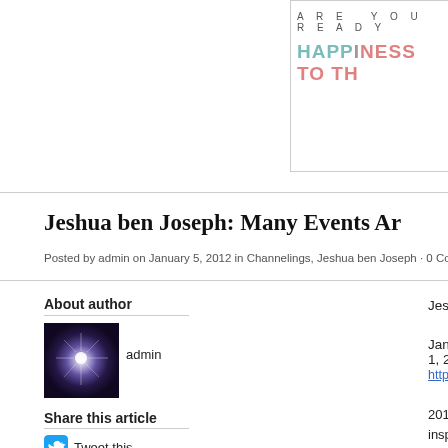[Figure (illustration): Banner with 'ARE YOU READY' text and 'HAPPINESS TO TH...' in colored letters, bordered box]
Jeshua ben Joseph: Many Events Ar...
Posted by admin on January 5, 2012 in Channelings, Jeshua ben Joseph · 0 Comments
About author
[Figure (photo): Admin avatar - dark purple/blue radial cosmic light image]
admin
Jeshua ben Joseph via John Smallman
January 1, 2012
http://johnsmallman2.wordpress.com/2012/01/01/m...
2012 will be a year of changes and surprises, some inspiring. As the year progresses, many events are s... very clearly that a large number of people are succe... themselves from the bondage of fear and from the u... Humanity cannot and will not now slip back into th... conflict, and war. You are on a magnificent evolutic...
Share this article
Tweet this
Digg it